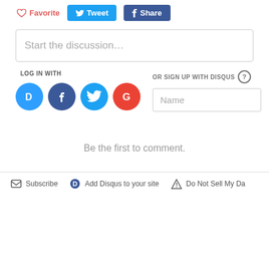Favorite  Tweet  Share
Start the discussion…
LOG IN WITH
OR SIGN UP WITH DISQUS ?
Name
Be the first to comment.
Subscribe  Add Disqus to your site  Do Not Sell My Da